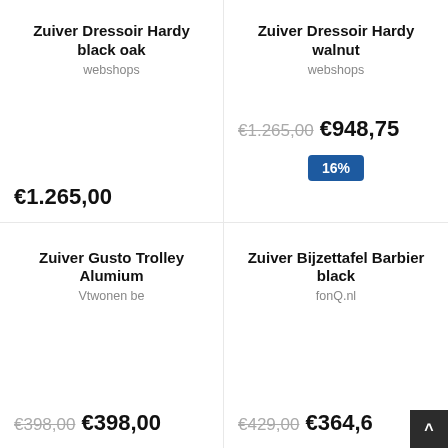Zuiver Dressoir Hardy black oak
webshops
€1.265,00
Zuiver Dressoir Hardy walnut
webshops
€1.265,00  €948,75
[Figure (other): Discount badge showing 16%]
Zuiver Gusto Trolley Alumium
Vtwonen be
€398,00  €398,00
Zuiver Bijzettafel Barbier black
fonQ.nl
€429,00  €364,6...